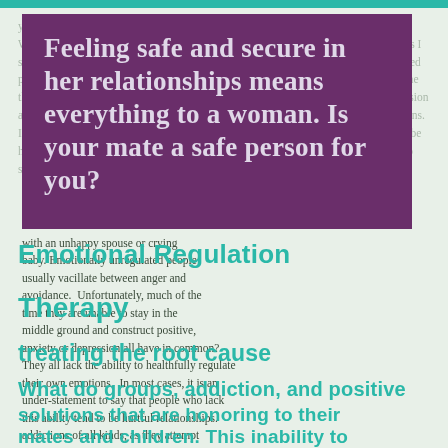[Figure (other): Purple box with large bold white/light text serving as a pull quote or title block]
Feeling safe and secure in her relationships means everything to a woman.  Is your mate a safe person for you?
Emotional Regulation Therapy
with an unhappy spouse or crying baby. Emotionally unregulated people usually vacillate between anger and avoidance.  Unfortunately, much of the time they are unable to stay in the middle ground and construct positive, anxiety, or depression all have in common? They all lack the ability to healthfully regulate their own emotions.  In most cases, it is an under-statement to say that people who lack this ability tend to be hurtful relationships.
treating the root cause
What do groups, addiction, and positive solutions that are honoring to their mates and children.  This inability to handle the stressors of everyday living also makes them susceptible to addictions of all kinds, as they attempt regulation so often fail to see anyone's